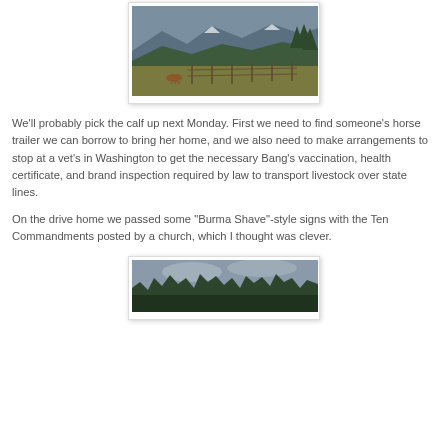[Figure (photo): A rural farm scene with a cow or calf in a fenced field, mountains with snow visible in the background, and trees on the right side under a cloudy sky.]
We'll probably pick the calf up next Monday. First we need to find someone's horse trailer we can borrow to bring her home, and we also need to make arrangements to stop at a vet's in Washington to get the necessary Bang's vaccination, health certificate, and brand inspection required by law to transport livestock over state lines.
On the drive home we passed some "Burma Shave"-style signs with the Ten Commandments posted by a church, which I thought was clever.
[Figure (photo): A forested scene showing a treeline of evergreen trees against an overcast sky.]